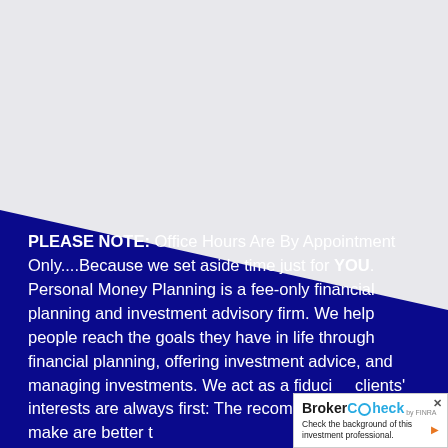[Figure (illustration): Dark navy blue background with a light gray triangular shape in the upper portion creating a diagonal split across the page.]
PLEASE NOTE: Office Hours Are By Appointment Only....Because we set aside time just for YOU. Personal Money Planning is a fee-only financial planning and investment advisory firm. We help people reach the goals they have in life through financial planning, offering investment advice, and managing investments. We act as a fiduci[ary, so] clients' interests are always first: The recommendations we make are better t[han...]
[Figure (logo): BrokerCheck by FINRA badge in the bottom right corner with text 'Check the background of this investment professional.' and an orange arrow.]